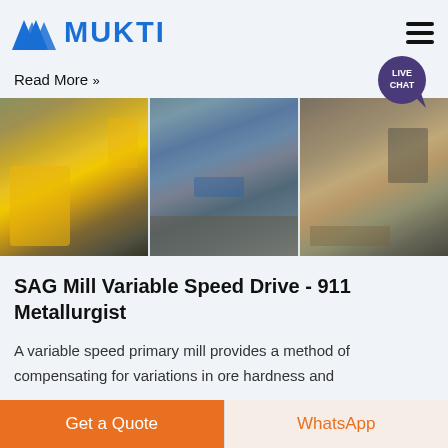MUKTI
Read More »
[Figure (photo): Three industrial mining/quarrying site photos side by side: left shows a yellow heavy machine with workers, center shows an open quarry with conveyors, right shows a quarry with a building structure.]
SAG Mill Variable Speed Drive - 911 Metallurgist
A variable speed primary mill provides a method of compensating for variations in ore hardness and